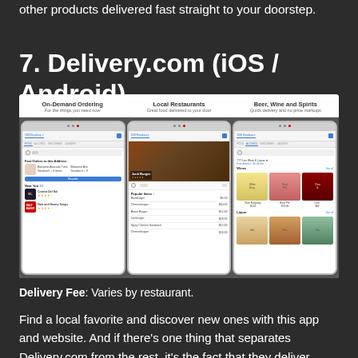other products delivered fast straight to your doorstep.
7. Delivery.com (iOS / Android)
[Figure (screenshot): Screenshot of the Delivery.com app showing three phone mockups: On-Demand Ordering, Local Restaurants, and Beer Wine and Spirits sections.]
Delivery Fee: Varies by restaurant.
Find a local favorite and discover new ones with this app and website. And if there's one thing that separates Delivery.com from the rest, it's the fact that they deliver